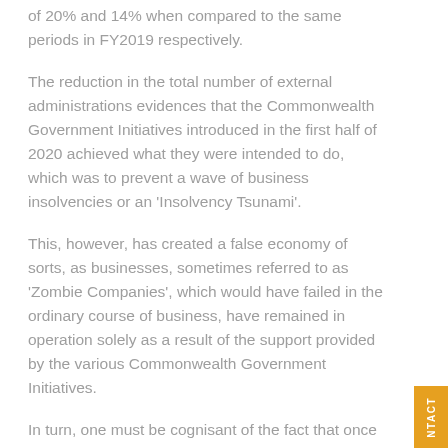of 20% and 14% when compared to the same periods in FY2019 respectively.
The reduction in the total number of external administrations evidences that the Commonwealth Government Initiatives introduced in the first half of 2020 achieved what they were intended to do, which was to prevent a wave of business insolvencies or an 'Insolvency Tsunami'.
This, however, has created a false economy of sorts, as businesses, sometimes referred to as 'Zombie Companies', which would have failed in the ordinary course of business, have remained in operation solely as a result of the support provided by the various Commonwealth Government Initiatives.
In turn, one must be cognisant of the fact that once the Commonwealth Government